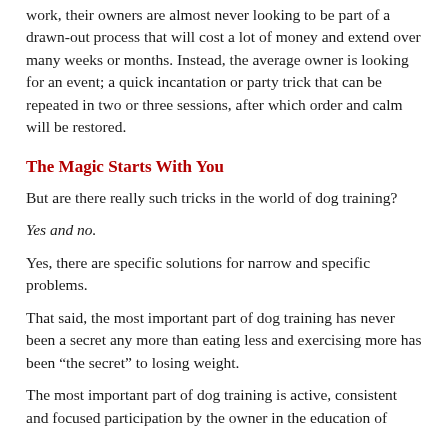work, their owners are almost never looking to be part of a drawn-out process that will cost a lot of money and extend over many weeks or months. Instead, the average owner is looking for an event; a quick incantation or party trick that can be repeated in two or three sessions, after which order and calm will be restored.
The Magic Starts With You
But are there really such tricks in the world of dog training?
Yes and no.
Yes, there are specific solutions for narrow and specific problems.
That said, the most important part of dog training has never been a secret any more than eating less and exercising more has been “the secret” to losing weight.
The most important part of dog training is active, consistent and focused participation by the owner in the education of...